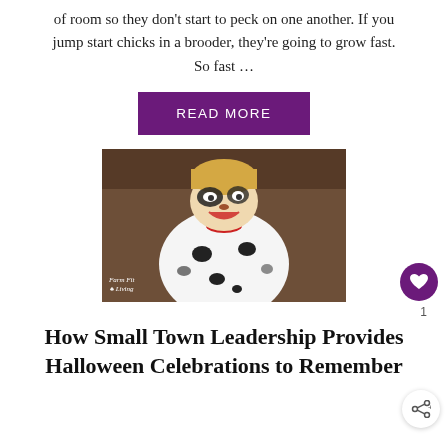of room so they don't start to peck on one another. If you jump start chicks in a brooder, they're going to grow fast. So fast …
READ MORE
[Figure (photo): Child dressed in a dalmatian Halloween costume with face paint, smiling. Watermark reads 'Farm Fit Living'.]
How Small Town Leadership Provides Halloween Celebrations to Remember